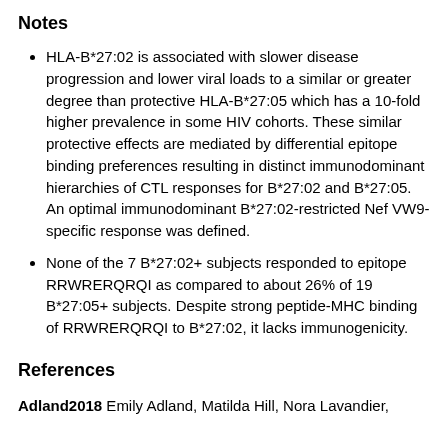Notes
HLA-B*27:02 is associated with slower disease progression and lower viral loads to a similar or greater degree than protective HLA-B*27:05 which has a 10-fold higher prevalence in some HIV cohorts. These similar protective effects are mediated by differential epitope binding preferences resulting in distinct immunodominant hierarchies of CTL responses for B*27:02 and B*27:05. An optimal immunodominant B*27:02-restricted Nef VW9-specific response was defined.
None of the 7 B*27:02+ subjects responded to epitope RRWRERQRQI as compared to about 26% of 19 B*27:05+ subjects. Despite strong peptide-MHC binding of RRWRERQRQI to B*27:02, it lacks immunogenicity.
References
Adland2018 Emily Adland, Matilda Hill, Nora Lavandier,